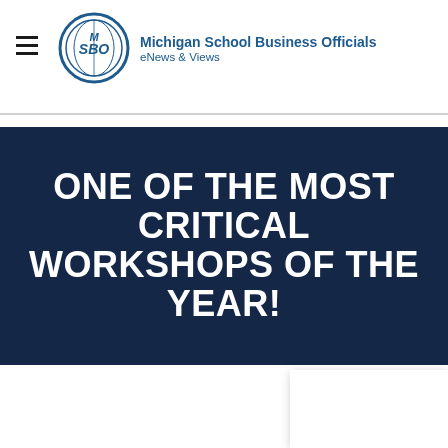Michigan School Business Officials eNews & Views
ONE OF THE MOST CRITICAL WORKSHOPS OF THE YEAR!